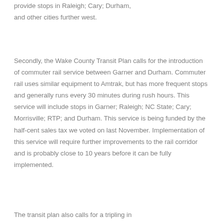provide stops in Raleigh; Cary; Durham, and other cities further west.
Secondly, the Wake County Transit Plan calls for the introduction of commuter rail service between Garner and Durham. Commuter rail uses similar equipment to Amtrak, but has more frequent stops and generally runs every 30 minutes during rush hours. This service will include stops in Garner; Raleigh; NC State; Cary; Morrisville; RTP; and Durham. This service is being funded by the half-cent sales tax we voted on last November. Implementation of this service will require further improvements to the rail corridor and is probably close to 10 years before it can be fully implemented.
The transit plan also calls for a tripling in